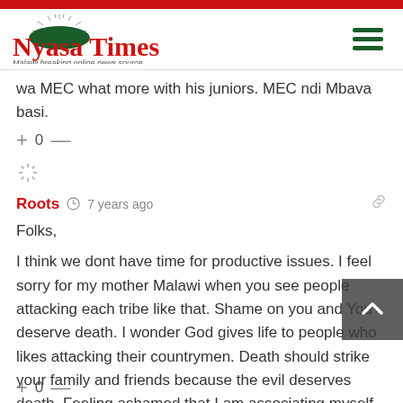[Figure (logo): Nyasa Times logo with dome/arc graphic and tagline 'Malawi breaking online news source']
wa MEC what more with his juniors. MEC ndi Mbava basi.
Roots · 7 years ago
Folks,

I think we dont have time for productive issues. I feel sorry for my mother Malawi when you see people attacking each tribe like that. Shame on you and You deserve death. I wonder God gives life to people who likes attacking their countrymen. Death should strike your family and friends because the evil deserves death. Feeling ashamed that I am associating myself with low minded people on this forum